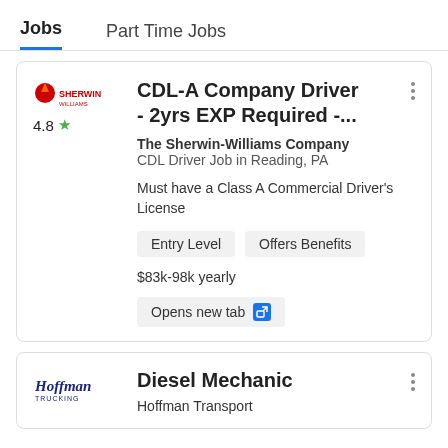Jobs   Part Time Jobs
CDL-A Company Driver - 2yrs EXP Required -...
The Sherwin-Williams Company
CDL Driver Job in Reading, PA
Must have a Class A Commercial Driver's License
Entry Level   Offers Benefits
$83k-98k yearly
Opens new tab
4.8 ★
Diesel Mechanic
Hoffman Transport